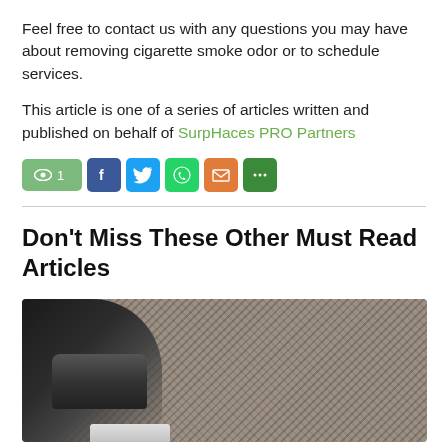Feel free to contact us with any questions you may have about removing cigarette smoke odor or to schedule services.
This article is one of a series of articles written and published on behalf of SurpHaces PRO Partners
[Figure (infographic): Social sharing buttons row: view count showing 1, Facebook, Twitter, WhatsApp, email, and more options buttons]
Don't Miss These Other Must Read Articles
[Figure (photo): Photo of a vacuum cleaner head on a carpet]